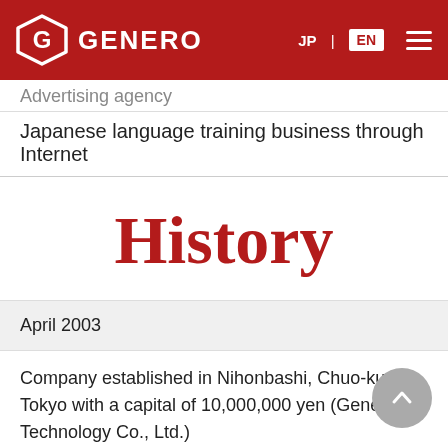GENERO — JP | EN navigation header
Advertising agency
Japanese language training business through Internet
History
April 2003
Company established in Nihonbashi, Chuo-ku, Tokyo with a capital of 10,000,000 yen (Genero Technology Co., Ltd.)
June 2003